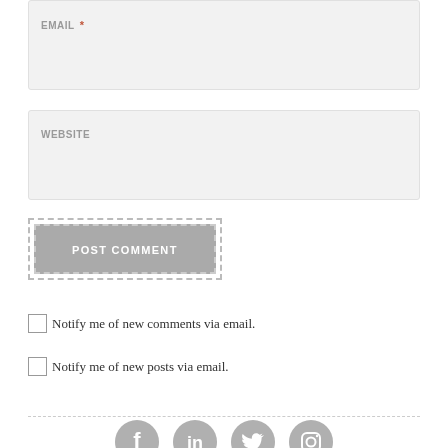EMAIL *
WEBSITE
POST COMMENT
Notify me of new comments via email.
Notify me of new posts via email.
[Figure (illustration): Social media icons: Facebook, LinkedIn, Twitter, Instagram — grey circles at the bottom of the page]